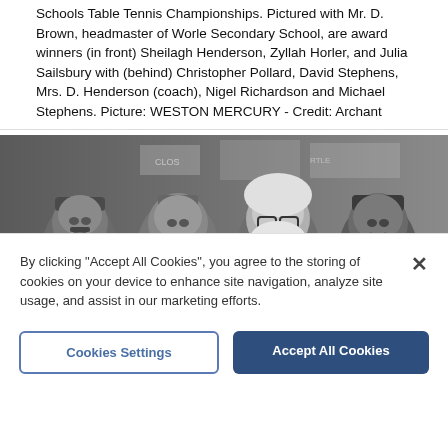Schools Table Tennis Championships. Pictured with Mr. D. Brown, headmaster of Worle Secondary School, are award winners (in front) Sheilagh Henderson, Zyllah Horler, and Julia Sailsbury with (behind) Christopher Pollard, David Stephens, Mrs. D. Henderson (coach), Nigel Richardson and Michael Stephens. Picture: WESTON MERCURY - Credit: Archant
[Figure (photo): Black and white photograph of four people wearing fancy dress costumes including hats, wigs, and accessories, posing together indoors with signs visible in the background.]
By clicking "Accept All Cookies", you agree to the storing of cookies on your device to enhance site navigation, analyze site usage, and assist in our marketing efforts.